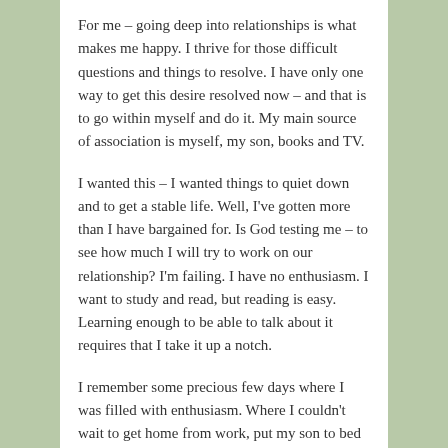For me – going deep into relationships is what makes me happy. I thrive for those difficult questions and things to resolve. I have only one way to get this desire resolved now – and that is to go within myself and do it. My main source of association is myself, my son, books and TV.
I wanted this – I wanted things to quiet down and to get a stable life. Well, I've gotten more than I have bargained for. Is God testing me – to see how much I will try to work on our relationship? I'm failing. I have no enthusiasm. I want to study and read, but reading is easy. Learning enough to be able to talk about it requires that I take it up a notch.
I remember some precious few days where I was filled with enthusiasm. Where I couldn't wait to get home from work, put my son to bed so I could spend more time studying the Vedas. Now I have the time – but no enthusiasm like I once experienced.
I want that enthusiasm back. How did I get it in the first